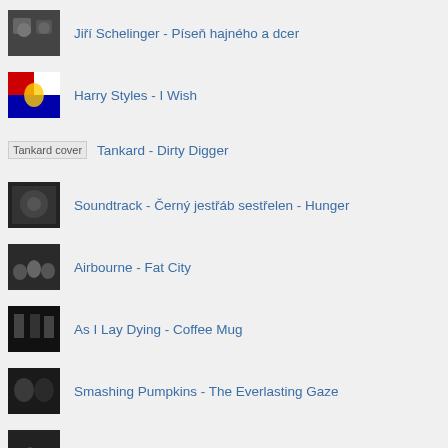Jiří Schelinger - Píseň hajného a dcer
Harry Styles - I Wish
Tankard - Dirty Digger
Soundtrack - Černý jestřáb sestřelen - Hunger
Airbourne - Fat City
As I Lay Dying - Coffee Mug
Smashing Pumpkins - The Everlasting Gaze
This Romantic Tragedy - Trust in fear
Naposledy zobrazené písně
Diamond stars - Ty jsi klíč k lásce
The Kelly Family - Don't Always Want
Luisa Sobral - O Engraxador
Čago Belo Šilenci! - Vengaboys - We Like To Party!
The Secret Circle - Does It Offend You Yeah - Wrong Time Wrong Pl...